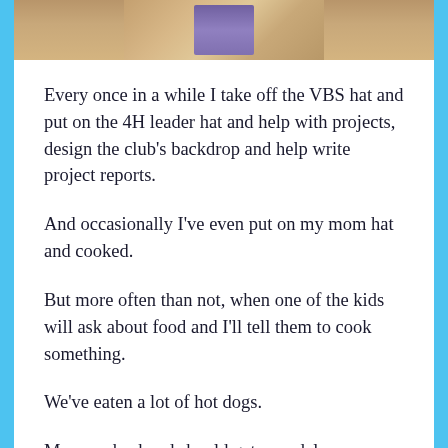[Figure (photo): Partial photo of an object on a wooden surface, cropped at top of page]
Every once in a while I take off the VBS hat and put on the 4H leader hat and help with projects, design the club's backdrop and help write project reports.
And occasionally I've even put on my mom hat and cooked.
But more often than not, when one of the kids will ask about food and I'll tell them to cook something.
We've eaten a lot of hot dogs.
My poor husband should get a medal.
Our conversations have been a bit one-sided this